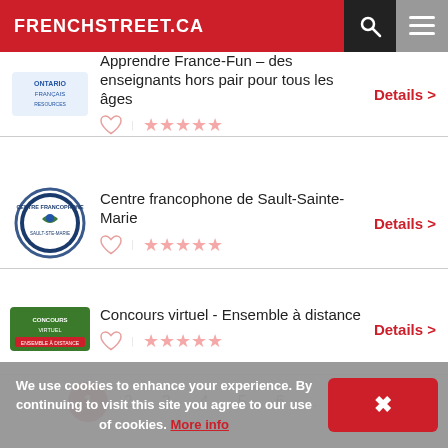FRENCHSTREET.CA
Apprendre France-Fun – des enseignants hors pair pour tous les âges
Details >
Centre francophone de Sault-Sainte-Marie
Details >
Concours virtuel - Ensemble à distance
Details >
1  2  3  4  5  6  ...  73  »
We use cookies to enhance your experience. By continuing to visit this site you agree to our use of cookies. More info